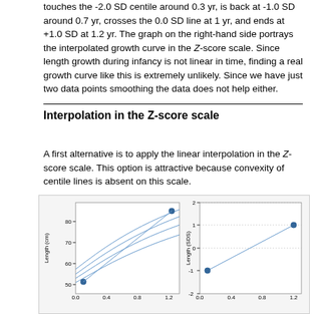touches the -2.0 SD centile around 0.3 yr, is back at -1.0 SD around 0.7 yr, crosses the 0.0 SD line at 1 yr, and ends at +1.0 SD at 1.2 yr. The graph on the right-hand side portrays the interpolated growth curve in the Z-score scale. Since length growth during infancy is not linear in time, finding a real growth curve like this is extremely unlikely. Since we have just two data points smoothing the data does not help either.
Interpolation in the Z-score scale
A first alternative is to apply the linear interpolation in the Z-score scale. This option is attractive because convexity of centile lines is absent on this scale.
[Figure (continuous-plot): Two side-by-side plots. Left plot: Length (cm) vs age (0.0 to 1.2), showing curved centile lines and a data point near (0.1, 51) and another at approximately (1.2, 82). Right plot: Length (SDS) vs age (0.0 to 1.2), showing a straight line from approximately (0.1, -1) to (1.2, 1), with the two data points plotted.]